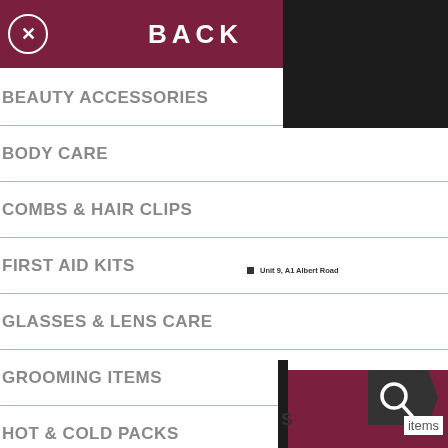BACK
BEAUTY ACCESSORIES
BODY CARE
COMBS & HAIR CLIPS
FIRST AID KITS
GLASSES & LENS CARE
GROOMING ITEMS
HOT & COLD PACKS
LIP BALM & LOTIONS
Unit 9, A1 Albert Road
items